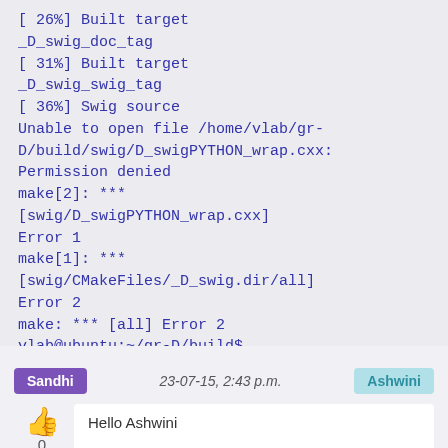[ 26%] Built target _D_swig_doc_tag
[ 31%] Built target _D_swig_swig_tag
[ 36%] Swig source
Unable to open file /home/vlab/gr-D/build/swig/D_swigPYTHON_wrap.cxx: Permission denied
make[2]: *** [swig/D_swigPYTHON_wrap.cxx] Error 1
make[1]: *** [swig/CMakeFiles/_D_swig.dir/all] Error 2
make: *** [all] Error 2
vlab@ubuntu:~/gr-D/build$
Sandhi   23-07-15, 2:43 p.m.   Ashwini
0
Hello Ashwini